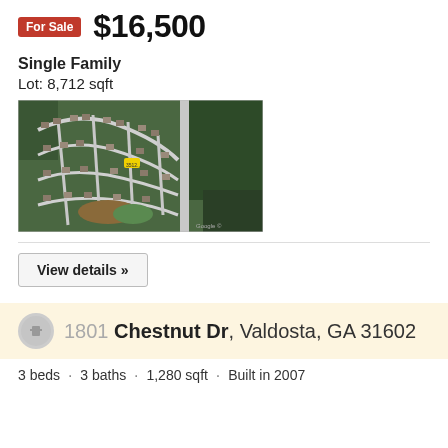For Sale $16,500
Single Family
Lot: 8,712 sqft
[Figure (photo): Satellite/aerial map view of a residential neighborhood showing streets and houses with a yellow marker pin at 3512 or similar address]
View details »
1801 Chestnut Dr, Valdosta, GA 31602
3 beds · 3 baths · 1,280 sqft · Built in 2007